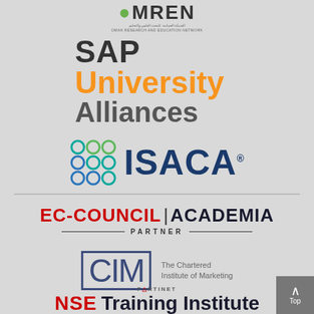[Figure (logo): OMREN logo - Oman Research and Education Network with green dot on O]
[Figure (logo): SAP University Alliances logo - SAP in dark gray, University in orange, Alliances in gray]
[Figure (logo): ISACA logo with colored circular icon grid and dark blue ISACA text]
[Figure (logo): EC-COUNCIL ACADEMIA PARTNER logo in red and dark navy]
[Figure (logo): CIM - The Chartered Institute of Marketing logo]
[Figure (logo): Fortinet NSE Training Institute - Authorized Security Academy logo]